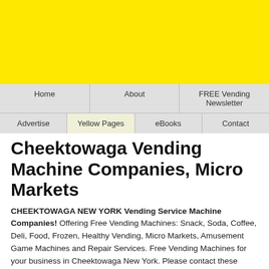[Figure (other): Yellow banner header area]
Home | About | FREE Vending Newsletter | Advertise | Yellow Pages | eBooks | Contact
Cheektowaga Vending Machine Companies, Micro Markets
CHEEKTOWAGA NEW YORK Vending Service Machine Companies! Offering Free Vending Machines: Snack, Soda, Coffee, Deli, Food, Frozen, Healthy Vending, Micro Markets, Amusement Game Machines and Repair Services. Free Vending Machines for your business in Cheektowaga New York. Please contact these vending companies direct for more information about their vending machines, products & services.
Also see: Vending in New York State, New York City, Albany, Bronx, Buffalo, Cheektowaga, Queens, Manhattan, Long Island,